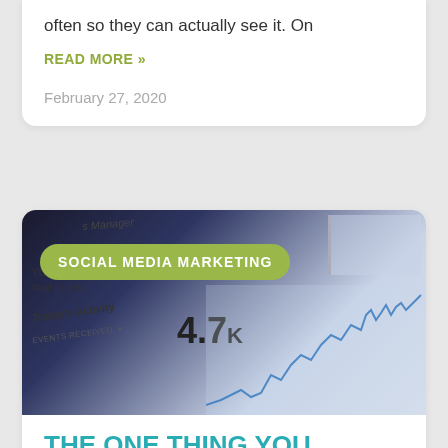often so they can actually see it. On
READ MORE »
February 27, 2020
[Figure (screenshot): Screenshot of a social media/Facebook Ads Manager dashboard showing 'Today's Activity', 'EVENTS RECEIVED 4.7k', and a line chart, with a green 'SOCIAL MEDIA MARKETING' badge overlaid]
THE ONE THING YOU